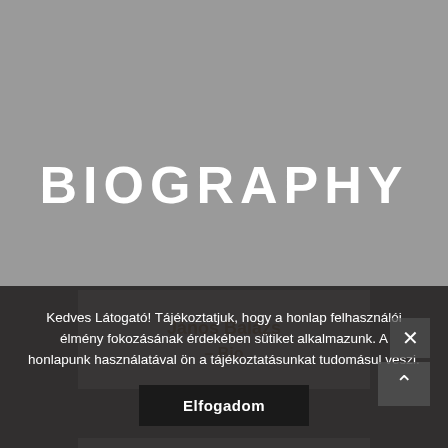BIOGraPHY
János Balázs – Bio
On the art of
Kedves Látogató! Tájékoztatjuk, hogy a honlap felhasználói élmény fokozásának érdekében sütiket alkalmazunk. A honlapunk használatával ön a tájékoztatásunkat tudomásul veszi.
Elfogadom